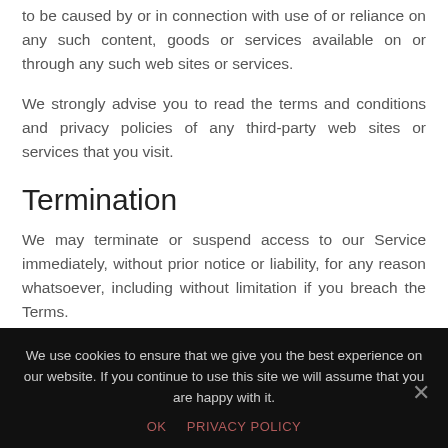to be caused by or in connection with use of or reliance on any such content, goods or services available on or through any such web sites or services.
We strongly advise you to read the terms and conditions and privacy policies of any third-party web sites or services that you visit.
Termination
We may terminate or suspend access to our Service immediately, without prior notice or liability, for any reason whatsoever, including without limitation if you breach the Terms.
We use cookies to ensure that we give you the best experience on our website. If you continue to use this site we will assume that you are happy with it.
OK   PRIVACY POLICY